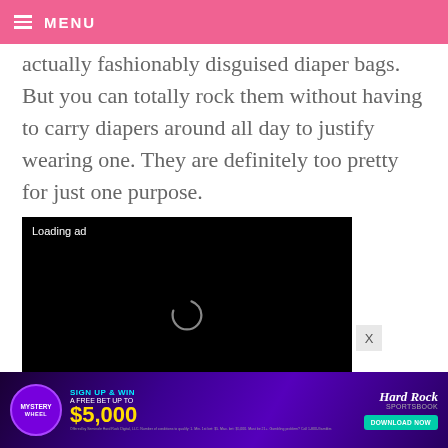MENU
actually fashionably disguised diaper bags. But you can totally rock them without having to carry diapers around all day to justify wearing one. They are definitely too pretty for just one purpose.
[Figure (screenshot): Video player with black background showing a loading spinner and 'Loading ad' text, with playback controls (pause, expand, mute) at the bottom.]
[Figure (infographic): Hard Rock Sportsbook advertisement banner. Mystery Wheel logo on left, 'SIGN UP & WIN A FREE BET UP TO $5,000' text in center, Hard Rock Sportsbook branding and 'DOWNLOAD NOW' button on right.]